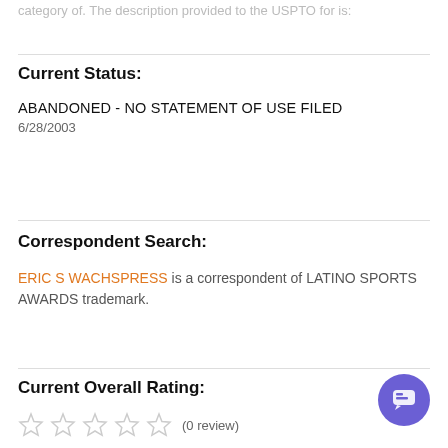category of. The description provided to the USPTO for is:
Current Status:
ABANDONED - NO STATEMENT OF USE FILED
6/28/2003
Correspondent Search:
ERIC S WACHSPRESS is a correspondent of LATINO SPORTS AWARDS trademark.
Current Overall Rating:
(0 review)